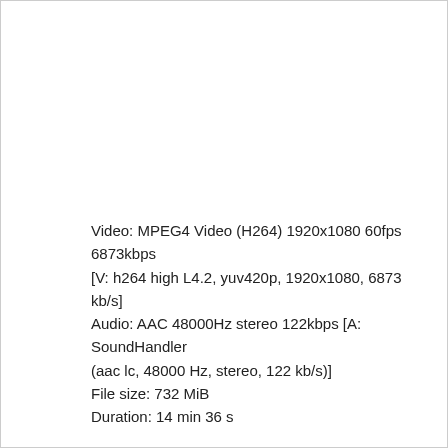Video: MPEG4 Video (H264) 1920x1080 60fps 6873kbps [V: h264 high L4.2, yuv420p, 1920x1080, 6873 kb/s] Audio: AAC 48000Hz stereo 122kbps [A: SoundHandler (aac lc, 48000 Hz, stereo, 122 kb/s)] File size: 732 MiB Duration: 14 min 36 s
Download:
https://uploaded.net/file/x88wgs0s
----------------------------
ronny_ponny webcam show